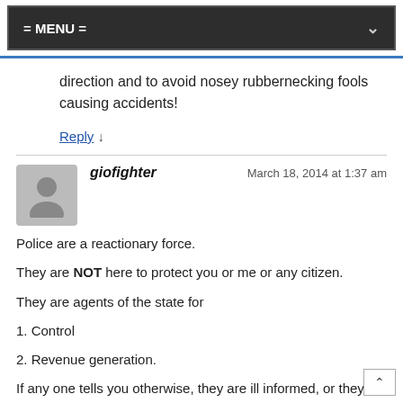= MENU =
direction and to avoid nosey rubbernecking fools causing accidents!
Reply ↓
giofighter — March 18, 2014 at 1:37 am
Police are a reactionary force.
They are NOT here to protect you or me or any citizen.
They are agents of the state for
1. Control
2. Revenue generation.
If any one tells you otherwise, they are ill informed, or they work for the police and want to continue